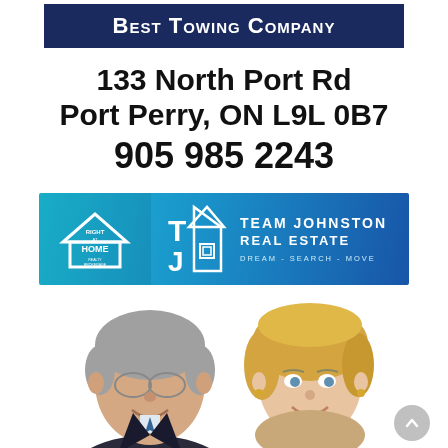Best Towing Company
133 North Port Rd
Port Perry, ON L9L 0B7
905 985 2243
[Figure (logo): Right at Home Realty Brokerage logo combined with Team Johnston Real Estate banner - blue gradient background with white house/TJ logo icon and text reading TEAM JOHNSTON REAL ESTATE DREAM - SEARCH - MOVE]
[Figure (photo): Headshots of two real estate agents - a middle-aged man with grey hair and glasses on the left, and a blonde woman on the right, both smiling]